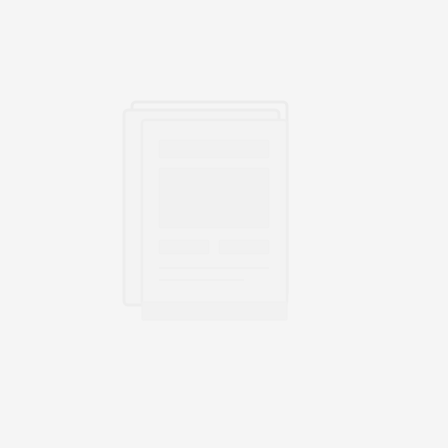[Figure (other): Faint watermark-style image of a document or book icon centered on a near-white/light gray background. The image is extremely low contrast, showing only very subtle outlines of what appears to be stacked document pages or a book form.]